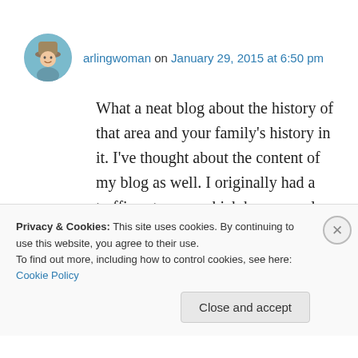arlingwoman on January 29, 2015 at 6:50 pm
What a neat blog about the history of that area and your family's history in it. I've thought about the content of my blog as well. I originally had a traffic category, which has a couple things in it, but I gravitate toward gardening, food issues,
Privacy & Cookies: This site uses cookies. By continuing to use this website, you agree to their use.
To find out more, including how to control cookies, see here: Cookie Policy
Close and accept